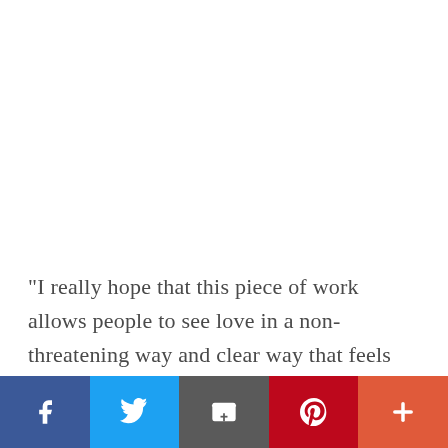“I really hope that this piece of work allows people to see love in a non-threatening way and clear way that feels exactly what it is; adults loving themselves, being comfortable in who they are, feeling a part of this world, and having the …”
[Figure (other): Social sharing bar with five buttons: Facebook (blue), Twitter (light blue), Email (dark grey), Pinterest (red), and More/Plus (orange-red)]